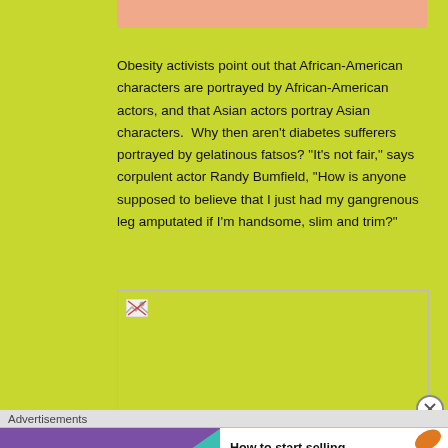[Figure (photo): Top portion of an image with peach/salmon colored background, partially cropped at top]
Obesity activists point out that African-American characters are portrayed by African-American actors, and that Asian actors portray Asian characters.  Why then aren't diabetes sufferers portrayed by gelatinous fatsos? “It’s not fair,” says corpulent actor Randy Bumfield, “How is anyone supposed to believe that I just had my gangrenous leg amputated if I’m handsome, slim and trim?”
[Figure (photo): Broken image placeholder with small broken image icon in top-left corner]
Advertisements
[Figure (screenshot): WooCommerce advertisement banner: purple background with WooCommerce logo and arrow on left, white background with text 'How to start selling subscriptions online' and decorative leaves on right]